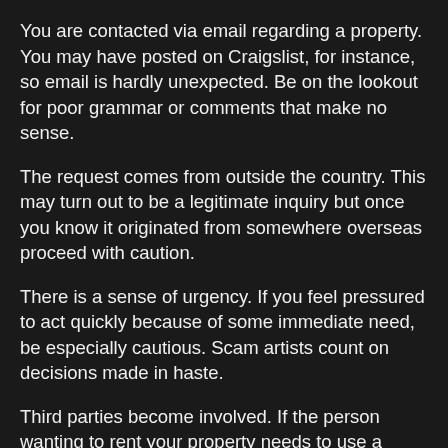You are contacted via email regarding a property. You may have posted on Craigslist, for instance, so email is hardly unexpected. Be on the lookout for poor grammar or comments that make no sense.
The request comes from outside the country. This may turn out to be a legitimate inquiry but once you know it originated from somewhere overseas proceed with caution.
There is a sense of urgency. If you feel pressured to act quickly because of some immediate need, be especially cautious. Scam artists count on decisions made in haste.
Third parties become involved. If the person wanting to rent your property needs to use a friend or someone else as an intermediary in order to pay, you should be at your own highest alert level. This is a common Nigerian Scam ploy.
You will be over-payed. This is one of the tricks these scam artists use to get money out of you. Normally, you would be the one receiving cash in a transaction. In this case,